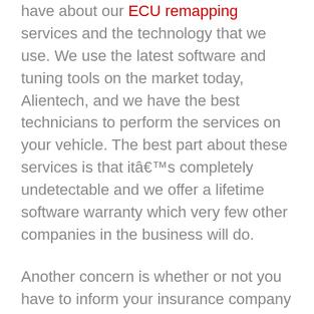have about our ECU remapping services and the technology that we use. We use the latest software and tuning tools on the market today, Alientech, and we have the best technicians to perform the services on your vehicle. The best part about these services is that itâ€™s completely undetectable and we offer a lifetime software warranty which very few other companies in the business will do.
Another concern is whether or not you have to inform your insurance company that your vehicle is remapped. We do recommend that you inform your insurance company that you have had your vehicle remapped because they will want to know, but itâ€™s highly unlikely that they would cancel your policy because the main benefits you will realise when you have your car remapped by our